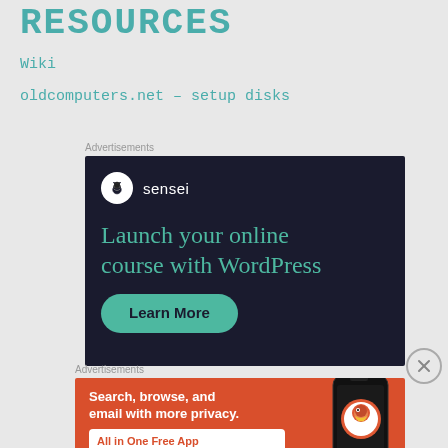RESOURCES
Wiki
oldcomputers.net – setup disks
Advertisements
[Figure (other): Sensei advertisement: dark background, logo circle with tree icon and 'sensei' text, headline 'Launch your online course with WordPress', 'Learn More' button in teal.]
[Figure (other): Close/dismiss button: circle with X]
Advertisements
[Figure (other): DuckDuckGo advertisement: orange background, headline 'Search, browse, and email with more privacy.', 'All in One Free App' button, phone image with DuckDuckGo logo on right side.]